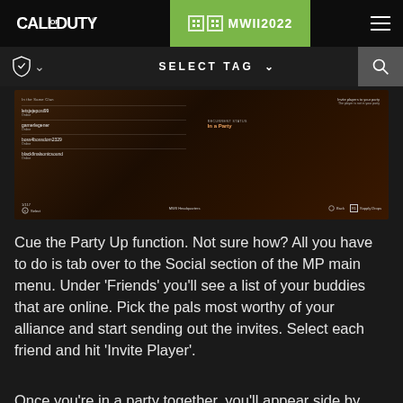Call of Duty® | MWII2022 | SELECT TAG
[Figure (screenshot): In-game screenshot of Call of Duty MW2 Social/Friends menu showing a list of online friends with invite player options and party status]
Cue the Party Up function. Not sure how? All you have to do is tab over to the Social section of the MP main menu. Under 'Friends' you'll see a list of your buddies that are online. Pick the pals most worthy of your alliance and start sending out the invites. Select each friend and hit 'Invite Player'.
Once you're in a party together, you'll appear side by side in